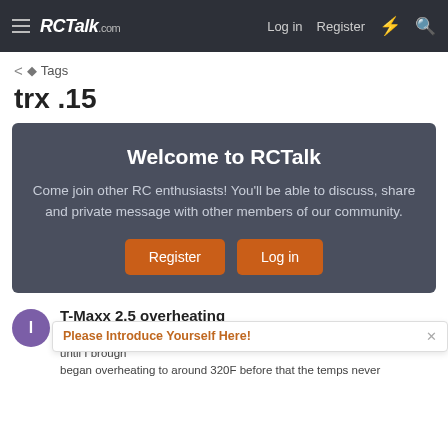RCTalk.com — Log in  Register
< Tags
trx .15
[Figure (screenshot): Welcome to RCTalk banner with orange Register and Log in buttons on a dark gray background]
T-Maxx 2.5 overheating
I have a Tma... until I brough... began overheating to around 320F before that the temps never
Please Introduce Yourself Here!